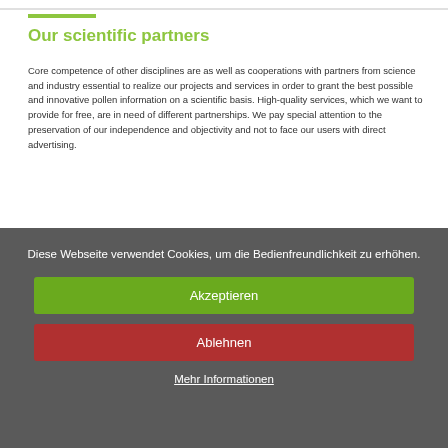Our scientific partners
Core competence of other disciplines are as well as cooperations with partners from science and industry essential to realize our projects and services in order to grant the best possible and innovative pollen information on a scientific basis. High-quality services, which we want to provide for free, are in need of different partnerships. We pay special attention to the preservation of our independence and objectivity and not to face our users with direct advertising.
[Figure (logo): OFI logo — circular stamp with 'ofi' text and 'FORTSCHRITT IN GUTEN HÄNDEN' around the edge, in grey and blue]
Diese Webseite verwendet Cookies, um die Bedienfreundlichkeit zu erhöhen.
Akzeptieren
Ablehnen
Mehr Informationen